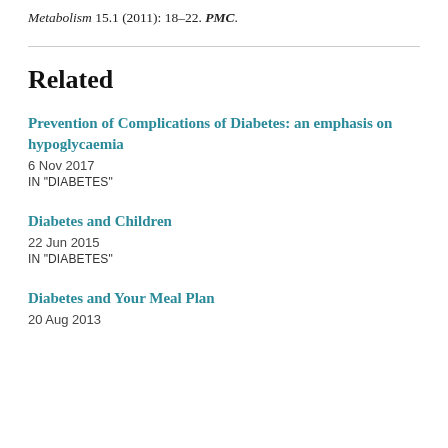Metabolism 15.1 (2011): 18–22. PMC.
Related
Prevention of Complications of Diabetes: an emphasis on hypoglycaemia
6 Nov 2017
IN "DIABETES"
Diabetes and Children
22 Jun 2015
IN "DIABETES"
Diabetes and Your Meal Plan
20 Aug 2013